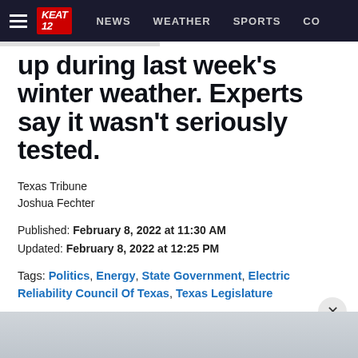NEWS  WEATHER  SPORTS  CO
up during last week's winter weather. Experts say it wasn't seriously tested.
Texas Tribune
Joshua Fechter
Published: February 8, 2022 at 11:30 AM
Updated: February 8, 2022 at 12:25 PM
Tags: Politics, Energy, State Government, Electric Reliability Council Of Texas, Texas Legislature